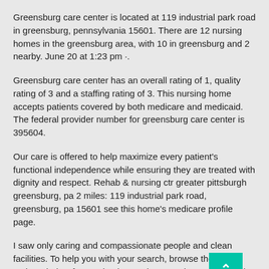Greensburg care center is located at 119 industrial park road in greensburg, pennsylvania 15601. There are 12 nursing homes in the greensburg area, with 10 in greensburg and 2 nearby. June 20 at 1:23 pm ·.
Greensburg care center has an overall rating of 1, quality rating of 3 and a staffing rating of 3. This nursing home accepts patients covered by both medicare and medicaid. The federal provider number for greensburg care center is 395604.
Our care is offered to help maximize every patient's functional independence while ensuring they are treated with dignity and respect. Rehab & nursing ctr greater pittsburgh greensburg, pa 2 miles: 119 industrial park road, greensburg, pa 15601 see this home's medicare profile page.
I saw only caring and compassionate people and clean facilities. To help you with your search, browse the 55 reviews below for nursing homes in greensburg. Also serving communities of jeannette.